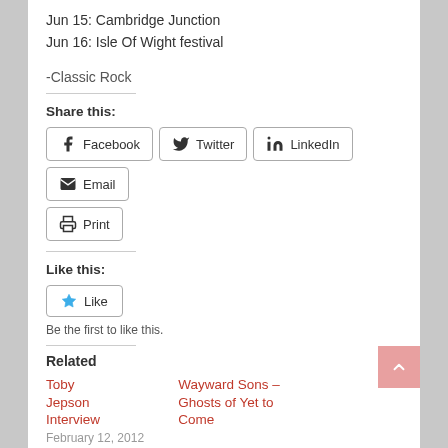Jun 15: Cambridge Junction
Jun 16: Isle Of Wight festival
-Classic Rock
Share this:
Facebook  Twitter  LinkedIn  Email  Print
Like this:
Like
Be the first to like this.
Related
Toby Jepson Interview
February 12, 2012
Wayward Sons – Ghosts of Yet to Come